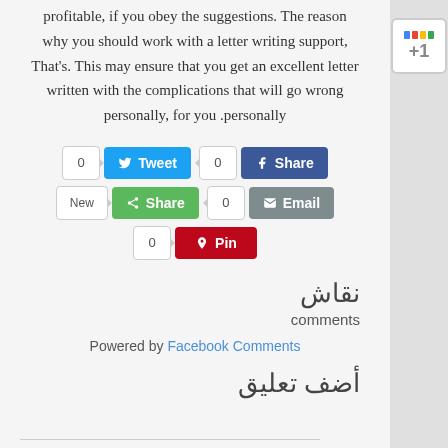profitable, if you obey the suggestions. The reason why you should work with a letter writing support, That's. This may ensure that you get an excellent letter written with the complications that will go wrong personally, for you personally.
[Figure (screenshot): Social share buttons: Tweet (0), Share on Facebook (0), Share (New), Email (0), Pin (0)]
نقاش
comments
Powered by Facebook Comments
أضف تعليق
[Figure (logo): Google +1 button icon with colored bars and +1 text]